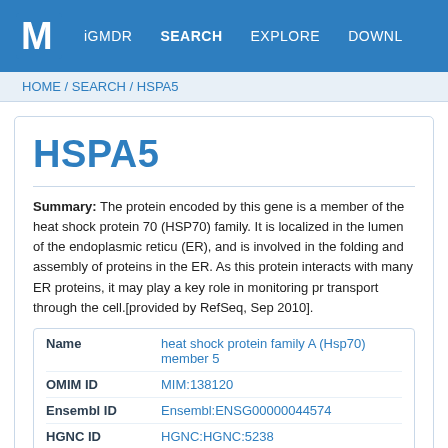M  iGMDR  SEARCH  EXPLORE  DOWNL
HOME / SEARCH / HSPA5
HSPA5
Summary: The protein encoded by this gene is a member of the heat shock protein 70 (HSP70) family. It is localized in the lumen of the endoplasmic reticulum (ER), and is involved in the folding and assembly of proteins in the ER. As this protein interacts with many ER proteins, it may play a key role in monitoring protein transport through the cell.[provided by RefSeq, Sep 2010].
| Name | Value |
| --- | --- |
| Name | heat shock protein family A (Hsp70) member 5 |
| OMIM ID | MIM:138120 |
| Ensembl ID | Ensembl:ENSG00000044574 |
| HGNC ID | HGNC:HGNC:5238 |
| PHARMGKB ID | PA29504 |
| Map Location | 9q33.3 |